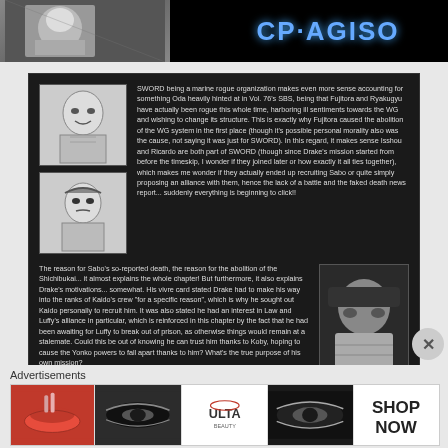[Figure (screenshot): Top black banner with manga character image on left and CP-AGISO logo on right in blue text]
[Figure (illustration): Two black and white manga character illustrations stacked vertically]
SWORD being a marine rogue organization makes even more sense accounting for something Oda heavily hinted at in Vol. 76's SBS, being that Fujitora and Ryakugyu have actually been rogue this whole time, harboring ill sentiments towards the WG and wishing to change its structure. This is exactly why Fujitora caused the abolition of the WG system in the first place (though it's possible personal morality also was the cause, not saying it was just for SWORD). In this regard, it makes sense Isshou and Ricardo are both part of SWORD (though since Drake's mission started from before the timeskip, I wonder if they joined later or how exactly it all ties together), which makes me wonder if they actually ended up recruiting Sabo or quite simply proposing an alliance with them, hence the lack of a battle and the faked death news report... suddenly everything is beginning to click!!
The reason for Sabo's so-reported death, the reason for the abolition of the Shichibukai... it almost explains the whole chapter! But furthermore, it also explains Drake's motivations... somewhat. His vivre card stated Drake had to make his way into the ranks of Kaido's crew "for a specific reason", which is why he sought out Kaido personally to recruit him. It was also stated he had an interest in Law and Luffy's alliance in particular, which is reinforced in this chapter by the fact that he had been awaiting for Luffy to break out of prison, as otherwise things would remain at a stalemate. Could this be out of knowing he can trust him thanks to Koby, hoping to cause the Yonko powers to fall apart thanks to him? What's the true purpose of his own mission?
[Figure (illustration): Color manga illustration of Drake wearing a mask]
[Figure (illustration): Small manga character sketch at bottom left]
Btw, Kuzan and Smoker could be on it too. Maybe that's why Kuzan infiltrated the BB pirates
Advertisements
[Figure (photo): Advertisement banner for ULTA beauty products showing lips, makeup brushes, eyes, logo, and SHOP NOW text]